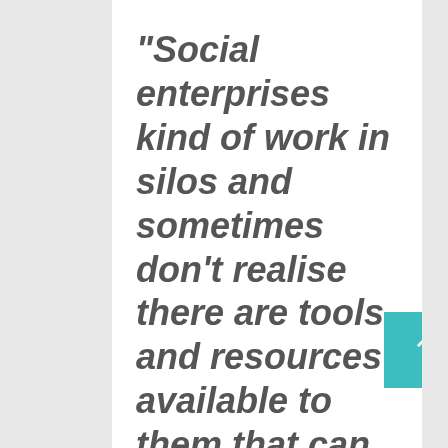“Social enterprises kind of work in silos and sometimes don’t realise there are tools and resources available to them that can influence their ability to achieve their